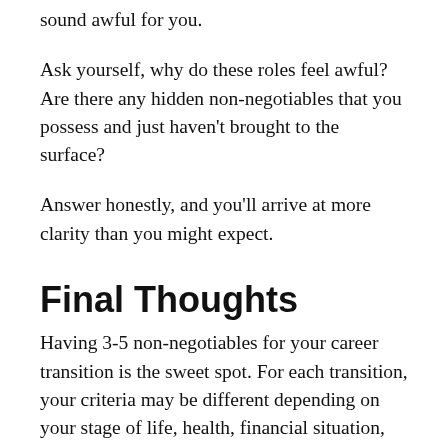sound awful for you.
Ask yourself, why do these roles feel awful? Are there any hidden non-negotiables that you possess and just haven't brought to the surface?
Answer honestly, and you'll arrive at more clarity than you might expect.
Final Thoughts
Having 3-5 non-negotiables for your career transition is the sweet spot. For each transition, your criteria may be different depending on your stage of life, health, financial situation, and your learnings from work experiences.